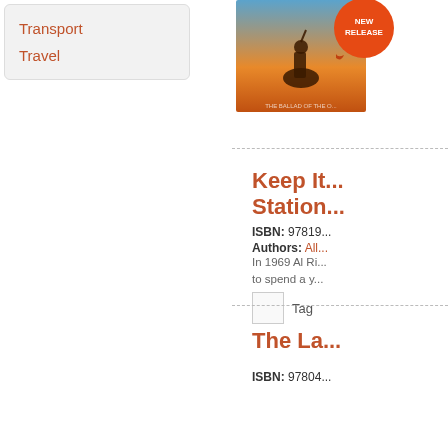Transport
Travel
[Figure (illustration): Book cover with orange sunset and figure on horseback with NEW RELEASE badge]
Keep It... Station...
ISBN: 97819...
Authors: All...
In 1969 Al Ri... to spend a y...
Tag
[Figure (illustration): Orange NEW RELEASE circular badge sticker]
The La...
ISBN: 97804...